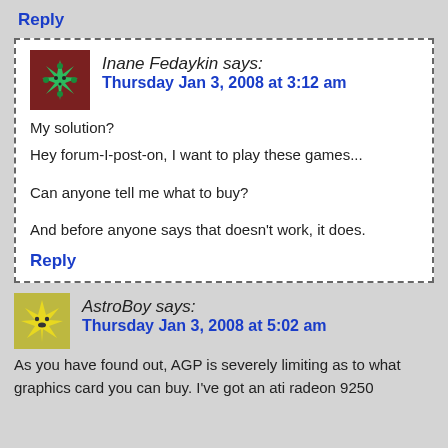Reply
Inane Fedaykin says:
Thursday Jan 3, 2008 at 3:12 am
My solution?
Hey forum-I-post-on, I want to play these games...

Can anyone tell me what to buy?

And before anyone says that doesn't work, it does.
Reply
AstroBoy says:
Thursday Jan 3, 2008 at 5:02 am
As you have found out, AGP is severely limiting as to what graphics card you can buy. I've got an ati radeon 9250